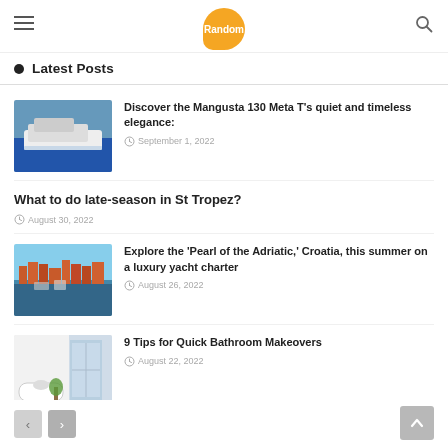Random
● Latest Posts
Discover the Mangusta 130 Meta T's quiet and timeless elegance:
September 1, 2022
What to do late-season in St Tropez?
August 30, 2022
Explore the 'Pearl of the Adriatic,' Croatia, this summer on a luxury yacht charter
August 26, 2022
9 Tips for Quick Bathroom Makeovers
August 22, 2022